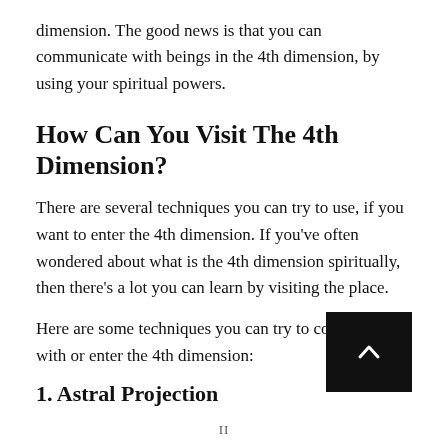dimension. The good news is that you can communicate with beings in the 4th dimension, by using your spiritual powers.
How Can You Visit The 4th Dimension?
There are several techniques you can try to use, if you want to enter the 4th dimension. If you've often wondered about what is the 4th dimension spiritually, then there's a lot you can learn by visiting the place.
Here are some techniques you can try to communicate with or enter the 4th dimension:
1. Astral Projection
[Figure (other): Black square button with a small upward-pointing caret/arrow icon in white]
II